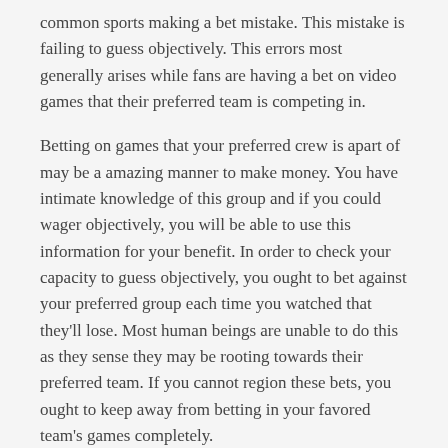common sports making a bet mistake. This mistake is failing to guess objectively. This errors most generally arises while fans are having a bet on video games that their preferred team is competing in.
Betting on games that your preferred crew is apart of may be a amazing manner to make money. You have intimate knowledge of this group and if you could wager objectively, you will be able to use this information for your benefit. In order to check your capacity to guess objectively, you ought to bet against your preferred group each time you watched that they'll lose. Most human beings are unable to do this as they sense they may be rooting towards their preferred team. If you cannot region these bets, you ought to keep away from betting in your favored team's games completely.
If you are capable of wager against your preferred team, you've got confirmed to yourself that you may bet objectively. You have to hold making a bet each for and